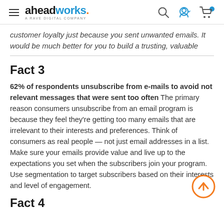aheadworks. A RAVE DIGITAL COMPANY
customer loyalty just because you sent unwanted emails. It would be much better for you to build a trusting, valuable
Fact 3
62% of respondents unsubscribe from e-mails to avoid not relevant messages that were sent too often The primary reason consumers unsubscribe from an email program is because they feel they're getting too many emails that are irrelevant to their interests and preferences. Think of consumers as real people — not just email addresses in a list. Make sure your emails provide value and live up to the expectations you set when the subscribers join your program. Use segmentation to target subscribers based on their interests and level of engagement.
Fact 4